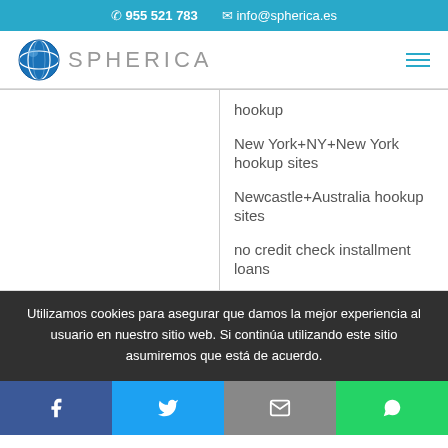☎ 955 521 783   ✉ info@spherica.es
[Figure (logo): Spherica logo with globe icon and text SPHERICA]
hookup
New York+NY+New York hookup sites
Newcastle+Australia hookup sites
no credit check installment loans
no credit check payday
Utilizamos cookies para asegurar que damos la mejor experiencia al usuario en nuestro sitio web. Si continúa utilizando este sitio asumiremos que está de acuerdo.
Facebook | Twitter | Email | WhatsApp